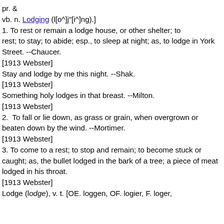pr. &
vb. n. Lodging (l[o^]j"[i^]ng).]
1. To rest or remain a lodge house, or other shelter; to rest; to stay; to abide; esp., to sleep at night; as, to lodge in York Street. --Chaucer.
[1913 Webster]
Stay and lodge by me this night. --Shak.
[1913 Webster]
Something holy lodges in that breast. --Milton.
[1913 Webster]
2. To fall or lie down, as grass or grain, when overgrown or beaten down by the wind. --Mortimer.
[1913 Webster]
3. To come to a rest; to stop and remain; to become stuck or caught; as, the bullet lodged in the bark of a tree; a piece of meat lodged in his throat.
[1913 Webster]
Lodge (l/odge), v. t. [OE. loggen, OF. logier, F. loger,